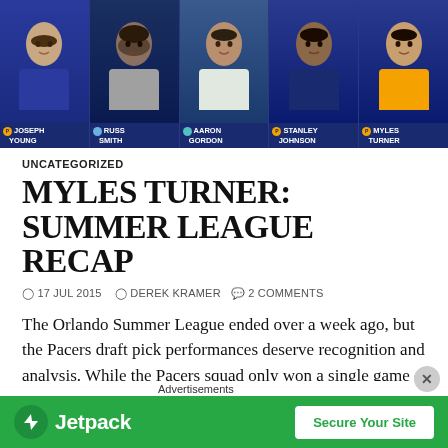[Figure (photo): NBA Summer League player roster banner showing five players: Joseph Young, Russ Smith, Aaron Gordon, Stanley Johnson, Myles Turner, with team logos and name labels on dark blue background]
UNCATEGORIZED
MYLES TURNER: SUMMER LEAGUE RECAP
17 JUL 2015  DEREK KRAMER  2 COMMENTS
The Orlando Summer League ended over a week ago, but the Pacers draft pick performances deserve recognition and analysis. While the Pacers squad only won a single game o
Advertisements
[Figure (screenshot): Jetpack advertisement banner with green background, Jetpack logo, and 'Secure Your Site' button]